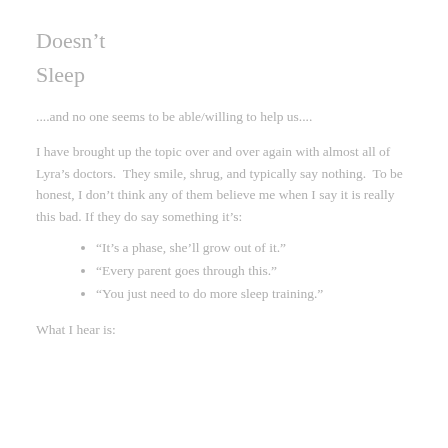Doesn't
Sleep
....and no one seems to be able/willing to help us....
I have brought up the topic over and over again with almost all of Lyra's doctors.  They smile, shrug, and typically say nothing.  To be honest, I don't think any of them believe me when I say it is really this bad. If they do say something it's:
“It’s a phase, she’ll grow out of it.”
“Every parent goes through this.”
“You just need to do more sleep training.”
What I hear is: